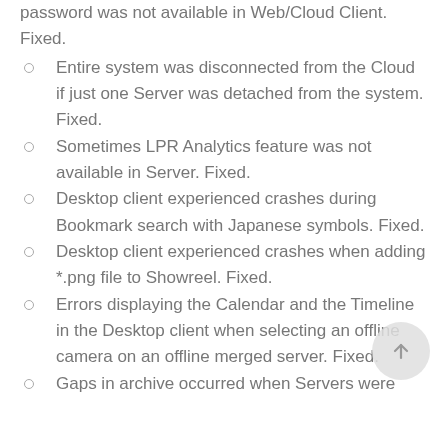password was not available in Web/Cloud Client. Fixed.
Entire system was disconnected from the Cloud if just one Server was detached from the system. Fixed.
Sometimes LPR Analytics feature was not available in Server. Fixed.
Desktop client experienced crashes during Bookmark search with Japanese symbols. Fixed.
Desktop client experienced crashes when adding *.png file to Showreel. Fixed.
Errors displaying the Calendar and the Timeline in the Desktop client when selecting an offline camera on an offline merged server. Fixed.
Gaps in archive occurred when Servers were